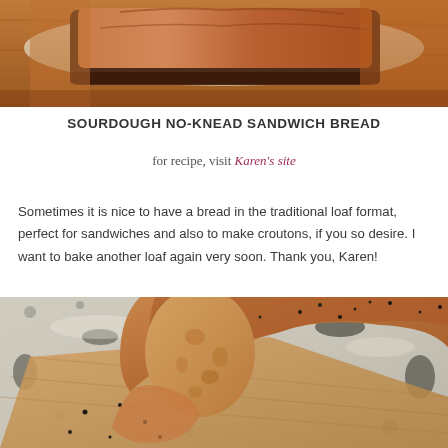[Figure (photo): Photo of a sourdough bread loaf in a baking pan on a wooden surface, warm tones, viewed from above at an angle, only the lower portion of the loaf and pan visible.]
SOURDOUGH NO-KNEAD SANDWICH BREAD
for recipe, visit Karen's site
Sometimes it is nice to have a bread in the traditional loaf format, perfect for sandwiches and also to make croutons, if you so desire. I want to bake another loaf again very soon. Thank you, Karen!
[Figure (photo): Photo of a sliced sourdough sandwich loaf on a wooden cutting board, showing the interior crumb texture, topped with seeds, on a marble/granite countertop.]